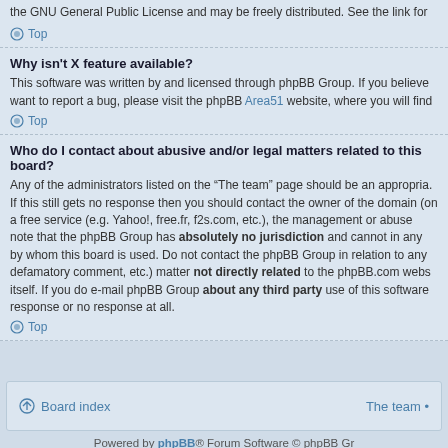the GNU General Public License and may be freely distributed. See the link for
Top
Why isn't X feature available?
This software was written by and licensed through phpBB Group. If you believe want to report a bug, please visit the phpBB Area51 website, where you will find
Top
Who do I contact about abusive and/or legal matters related to this board?
Any of the administrators listed on the “The team” page should be an appropria. If this still gets no response then you should contact the owner of the domain (on a free service (e.g. Yahoo!, free.fr, f2s.com, etc.), the management or abuse note that the phpBB Group has absolutely no jurisdiction and cannot in any by whom this board is used. Do not contact the phpBB Group in relation to any defamatory comment, etc.) matter not directly related to the phpBB.com webs itself. If you do e-mail phpBB Group about any third party use of this software response or no response at all.
Top
Board index
The team •
Powered by phpBB® Forum Software © phpBB Gr